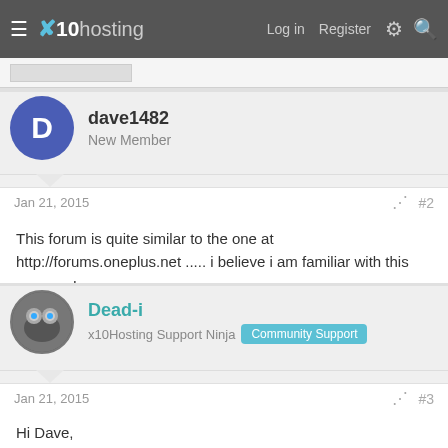x10hosting — Log in  Register
dave1482
New Member
Jan 21, 2015  #2
This forum is quite similar to the one at http://forums.oneplus.net ..... i believe i am familiar with this one now!
Dead-i
x10Hosting Support Ninja  Community Support
Jan 21, 2015  #3
Hi Dave,

The Internal Server Error was being caused by an invalid line in your .htaccess file. I have now commented out the line, and your